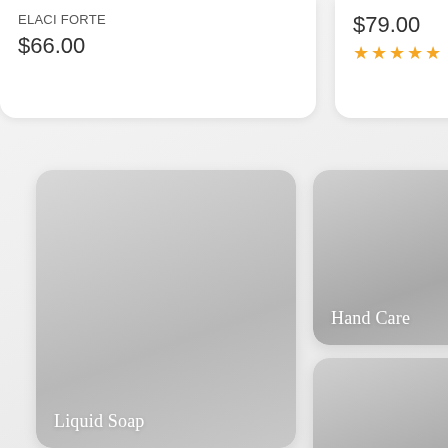ELACI FORTE
$66.00
$79.00
★★★★★ 1 Revi
[Figure (other): Category card for Liquid Soap with gradient gray background]
Liquid Soap
[Figure (other): Category card for Hand Care with gradient gray background]
Hand Care
[Figure (other): Category card for Men's Grooming with gradient gray background]
Men's Grooming